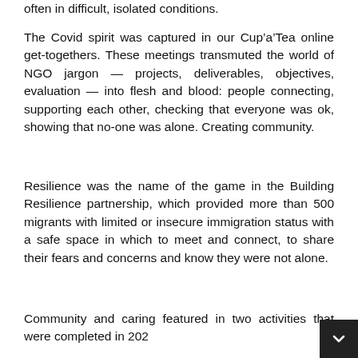often in difficult, isolated conditions.
The Covid spirit was captured in our Cup’a’Tea online get-togethers. These meetings transmuted the world of NGO jargon — projects, deliverables, objectives, evaluation — into flesh and blood: people connecting, supporting each other, checking that everyone was ok, showing that no-one was alone. Creating community.
Resilience was the name of the game in the Building Resilience partnership, which provided more than 500 migrants with limited or insecure immigration status with a safe space in which to meet and connect, to share their fears and concerns and know they were not alone.
Community and caring featured in two activities that were completed in 202